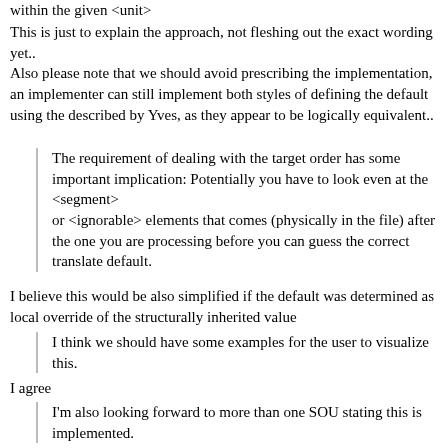within the given <unit>
This is just to explain the approach, not fleshing out the exact wording yet..
Also please note that we should avoid prescribing the implementation, an implementer can still implement both styles of defining the default using the described by Yves, as they appear to be logically equivalent..
The requirement of dealing with the target order has some important implication: Potentially you have to look even at the <segment>
or <ignorable> elements that comes (physically in the file) after the one you are processing before you can guess the correct translate default.
I believe this would be also simplified if the default was determined as local override of the structurally inherited value
I think we should have some examples for the user to visualize this.
I agree
I'm also looking forward to more than one SOU stating this is implemented.